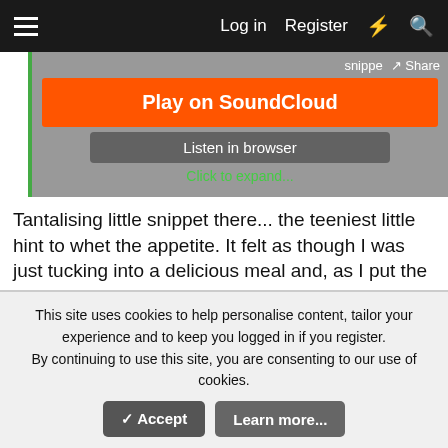Log in  Register
[Figure (screenshot): SoundCloud embedded player with orange 'Play on SoundCloud' button, 'Listen in browser' button, and 'Click to expand...' link]
Tantalising little snippet there... the teeniest little hint to whet the appetite. It felt as though I was just tucking into a delicious meal and, as I put the first forkful to my mouth, it was dashed from my hand, so that only the tiniest of unsatisfying morsels passed my lips and I was left with a raging, ravening hunger for more.
woops, sufi and wektor
This site uses cookies to help personalise content, tailor your experience and to keep you logged in if you register.
By continuing to use this site, you are consenting to our use of cookies.